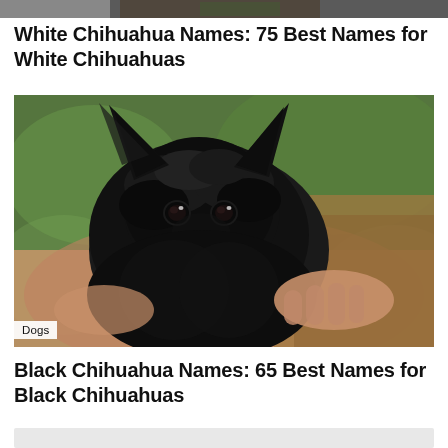[Figure (photo): Cropped top portion of a photo, likely a white Chihuahua scene, mostly cut off at top of page]
White Chihuahua Names: 75 Best Names for White Chihuahuas
[Figure (photo): A small black fluffy Chihuahua puppy with large ears being cradled in a person's hands, with a green blurred background. A 'Dogs' category tag is visible in the bottom-left corner of the image.]
Black Chihuahua Names: 65 Best Names for Black Chihuahuas